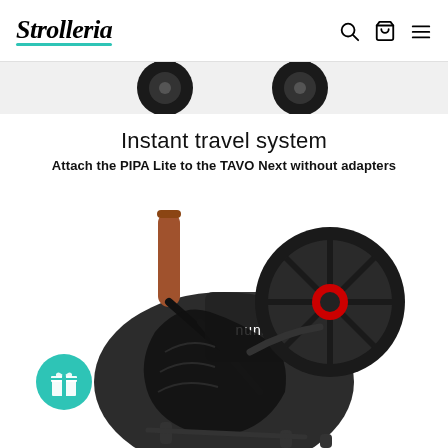Strolleria
[Figure (photo): Partial top view of two circular stroller wheels on a light gray background strip]
Instant travel system
Attach the PIPA Lite to the TAVO Next without adapters
[Figure (photo): A folded Nuna brand stroller in black with a brown leather handle grip and a large black spoked rear wheel with red accents, shown on white background]
[Figure (other): Teal/turquoise circular gift icon button in bottom left corner]